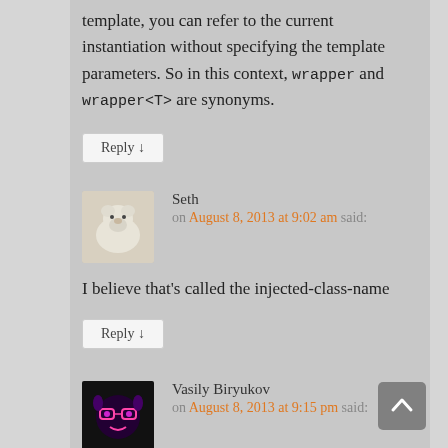template, you can refer to the current instantiation without specifying the template parameters. So in this context, wrapper and wrapper<T> are synonyms.
Reply ↓
Seth
on August 8, 2013 at 9:02 am said:
I believe that's called the injected-class-name
Reply ↓
Vasily Biryukov
on August 8, 2013 at 9:15 pm said: